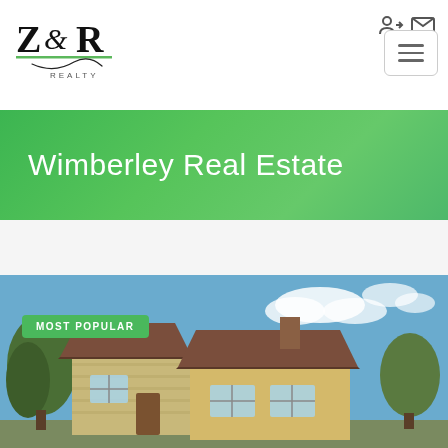[Figure (logo): Z&R Realty logo with stylized ampersand, green underline, and REALTY text]
[Figure (screenshot): Login icon and email icon in top right]
[Figure (screenshot): Hamburger menu button with three lines]
Wimberley Real Estate
MOST POPULAR
[Figure (photo): Photo of a stone and stucco house with metal roof, trees and blue sky background, labeled MOST POPULAR]